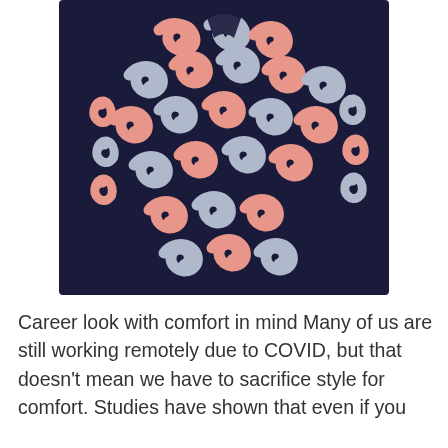[Figure (photo): A patterned garment (top/blouse) on a white background. The fabric features a swirling, scrolling pattern in navy blue, salmon/pink, and light gray/silver colors. The garment has long sleeves.]
Career look with comfort in mind Many of us are still working remotely due to COVID, but that doesn't mean we have to sacrifice style for comfort. Studies have shown that even if you